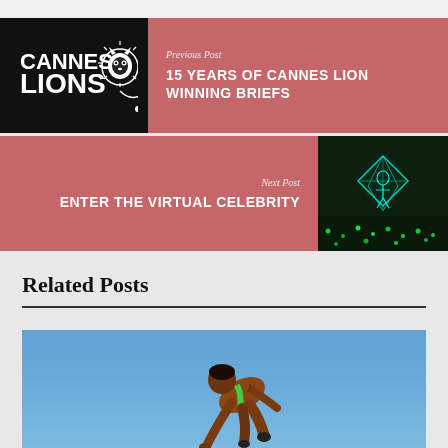[Figure (other): Previous post navigation block with Cannes Lions logo and pink/rose background. Text: Previous Post / 15 YEARS OF CANNES LION WINNING BRIEFS]
[Figure (other): Next post navigation block with pink/rose background and virtual celebrity concert image on the right. Text: Next Post / ENTER THE VIRTUAL CELEBRITY]
Related Posts
[Figure (photo): Athletic person in green outfit diving or leaping against a blue sky background]